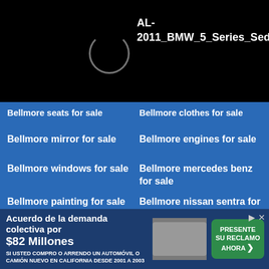[Figure (screenshot): Black background with loading spinner circle and text label AL-2011_BMW_5_Series_Sed...]
AL-
2011_BMW_5_Series_Sed...
Bellmore seats for sale
Bellmore clothes for sale
Bellmore mirror for sale
Bellmore engines for sale
Bellmore windows for sale
Bellmore mercedes benz for sale
Bellmore painting for sale
Bellmore nissan sentra for sale
Bellmore wheels and tires for sale
Copyright © 2022 Americanlisted.com
[Figure (screenshot): Browser navigation bar with chevron and address input]
[Figure (infographic): Advertisement: Acuerdo de la demanda colectiva por $82 Millones - SI USTED COMPRO O ARRENDO UN AUTOMÓVIL O CAMIÓN NUEVO EN CALIFORNIA DESDE 2001 A 2003, with car image and PRESENTE SU RECLAMO AHORA button]